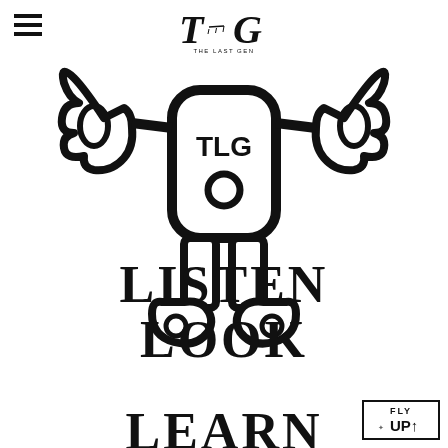[Figure (logo): Hamburger menu icon (three horizontal lines) in top left corner]
[Figure (logo): The Last Gen (TLG) logo at top center — stylized TLG letters with THE LAST GEN text below]
[Figure (illustration): TLG mascot — a cartoon figure with arms raised, torso showing TLG label and circle, and two feet, rendered in bold black outlines on white]
LISTEN
LOOK
[Figure (logo): FLY UP↑ badge with compass/snowflake icon, bottom right corner]
LEARN